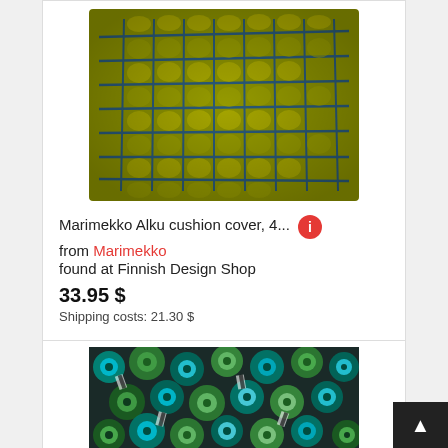[Figure (photo): Marimekko Alku cushion cover with yellow-green and dark blue grid pattern]
Marimekko Alku cushion cover, 4...
from Marimekko
found at Finnish Design Shop
33.95 $
Shipping costs: 21.30 $
[Figure (photo): Fabric with colorful Marimekko pattern featuring circular floral motifs in green, teal, black and white]